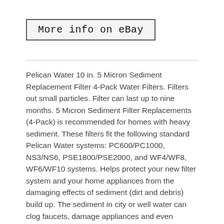[Figure (other): Button/badge with text 'More info on eBay' inside a rectangular border, displayed in monospace font on a light gray background]
Pelican Water 10 in. 5 Micron Sediment Replacement Filter 4-Pack Water Filters. Filters out small particles. Filter can last up to nine months. 5 Micron Sediment Filter Replacements (4-Pack) is recommended for homes with heavy sediment. These filters fit the following standard Pelican Water systems: PC600/PC1000, NS3/NS6, PSE1800/PSE2000, and WF4/WF8, WF6/WF10 systems. Helps protect your new filter system and your home appliances from the damaging effects of sediment (dirt and debris) build up. The sediment in city or well water can clog faucets, damage appliances and even change the taste of your drinking water. The pre-filter system filters out particles as small as 5 microns in size. Lengthens life of filter system and appliances. Filters down to 20 times smaller than the diameter of a human hair. Each filter is effective for approximately 6-9 months depending on use. Pelican PC600/PC1000/PC600-PUV-B/ PC1000-PUV-16/NS3/NS6/NS3-PUV-B/ NS6-PUV-16. Whole House Replacement Filters. Water Filtration System Type. We stand behind our products. We do our best to process